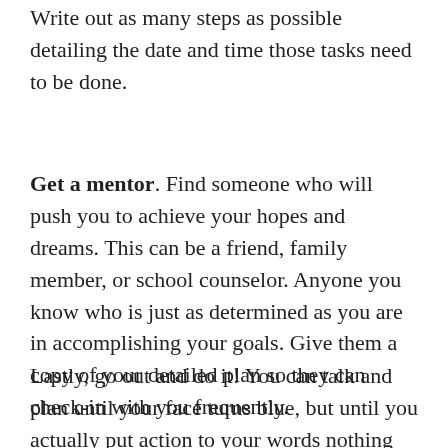Write out as many steps as possible detailing the date and time those tasks need to be done.
Get a mentor. Find someone who will push you to achieve your hopes and dreams. This can be a friend, family member, or school counselor. Anyone you know who is just as determined as you are in accomplishing your goals. Give them a copy of your detailed plan so they can check-in with you frequently.
Lastly, go out and do it! You can talk and plan until your face turns blue, but until you actually put action to your words nothing will get done.